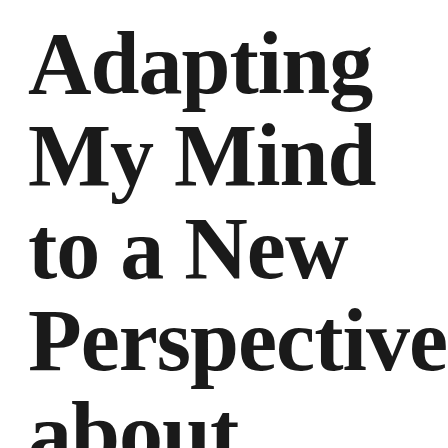Adapting My Mind to a New Perspective about